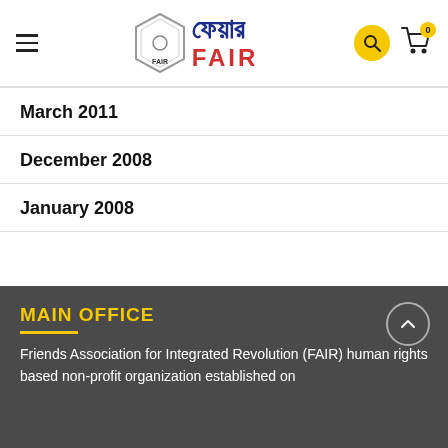[Figure (logo): FAIR organization logo with hexagon shape and Bengali/English text]
March 2011
December 2008
January 2008
MAIN OFFICE
Friends Association for Integrated Revolution (FAIR) human rights based non-profit organization established on